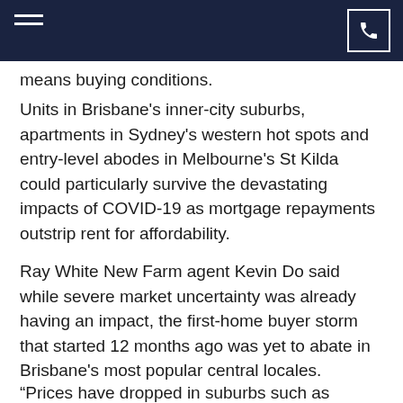[navigation bar with hamburger menu and phone icon]
means buying conditions.
Units in Brisbane's inner-city suburbs, apartments in Sydney's western hot spots and entry-level abodes in Melbourne's St Kilda could particularly survive the devastating impacts of COVID-19 as mortgage repayments outstrip rent for affordability.
Ray White New Farm agent Kevin Do said while severe market uncertainty was already having an impact, the first-home buyer storm that started 12 months ago was yet to abate in Brisbane's most popular central locales.
“Prices have dropped in suburbs such as Spring Hill for those one-bedroom apartments. They used to be high $300,000s to low $400,000 but now you can